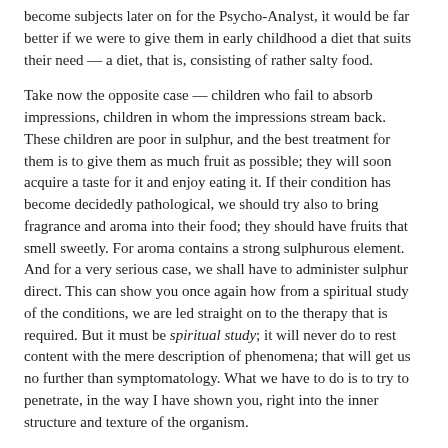become subjects later on for the Psycho-Analyst, it would be far better if we were to give them in early childhood a diet that suits their need — a diet, that is, consisting of rather salty food.
Take now the opposite case — children who fail to absorb impressions, children in whom the impressions stream back. These children are poor in sulphur, and the best treatment for them is to give them as much fruit as possible; they will soon acquire a taste for it and enjoy eating it. If their condition has become decidedly pathological, we should try also to bring fragrance and aroma into their food; they should have fruits that smell sweetly. For aroma contains a strong sulphurous element. And for a very serious case, we shall have to administer sulphur direct. This can show you once again how from a spiritual study of the conditions, we are led straight on to the therapy that is required. But it must be spiritual study; it will never do to rest content with the mere description of phenomena; that will get us no further than symptomatology. What we have to do is to try to penetrate, in the way I have shown you, right into the inner structure and texture of the organism.